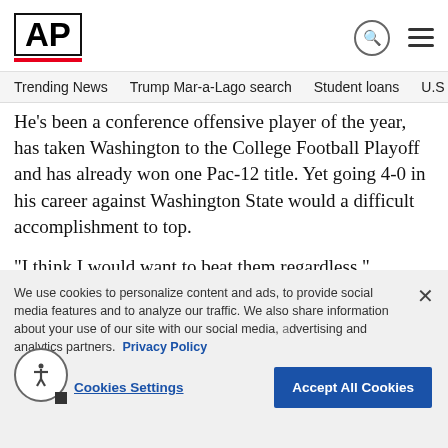[Figure (logo): AP (Associated Press) logo — bold AP letters in a white box with red underbar]
Trending News   Trump Mar-a-Lago search   Student loans   U.S.
He's been a conference offensive player of the year, has taken Washington to the College Football Playoff and has already won one Pac-12 title. Yet going 4-0 in his career against Washington State would a difficult accomplishment to top.
“I think I would want to beat them regardless,” Browning said following Washingt…
[Figure (photo): Partial outdoor photo visible at right side of page]
We use cookies to personalize content and ads, to provide social media features and to analyze our traffic. We also share information about your use of our site with our social media, advertising and analytics partners. Privacy Policy
Cookies Settings
Accept All Cookies